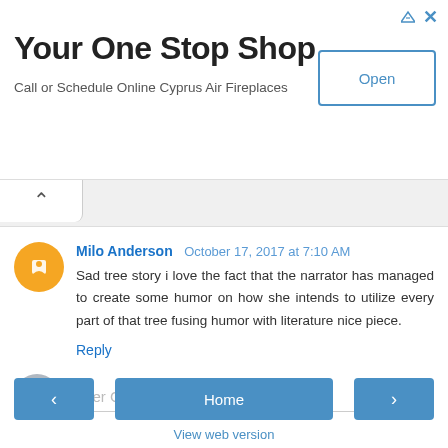[Figure (infographic): Advertisement banner: 'Your One Stop Shop' with subtitle 'Call or Schedule Online Cyprus Air Fireplaces' and an Open button]
Milo Anderson  October 17, 2017 at 7:10 AM
Sad tree story i love the fact that the narrator has managed to create some humor on how she intends to utilize every part of that tree fusing humor with literature nice piece.
Reply
Enter Comment
< Home > View web version